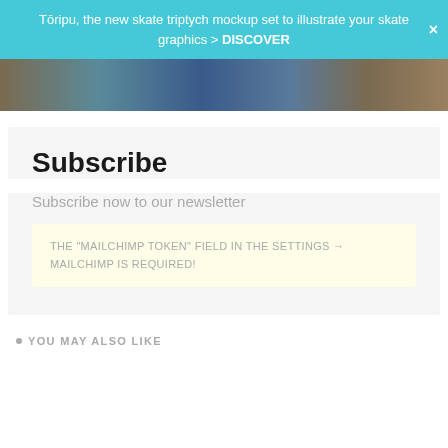Tōripu, the new skate triptych mockup set to illustrate your skate graphics > DISCOVER
[Figure (photo): Partial view of skateboard decks arranged as a triptych mockup, showing colorful graphics with blue and warm tones]
Subscribe
Subscribe now to our newsletter
THE "MAILCHIMP TOKEN" FIELD IN THE SETTINGS → MAILCHIMP IS REQUIRED!
YOU MAY ALSO LIKE